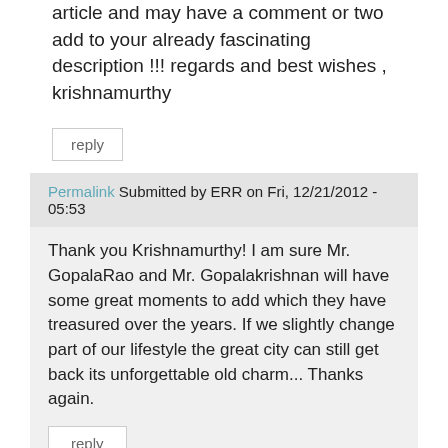article and may have a comment or two add to your already fascinating description !!! regards and best wishes , krishnamurthy
reply
Permalink Submitted by ERR on Fri, 12/21/2012 - 05:53
Thank you Krishnamurthy! I am sure Mr. GopalaRao and Mr. Gopalakrishnan will have some great moments to add which they have treasured over the years. If we slightly change part of our lifestyle the great city can still get back its unforgettable old charm... Thanks again.
reply
Permalink Submitted by ERR on Tue, 08/18/2015 - 02:29